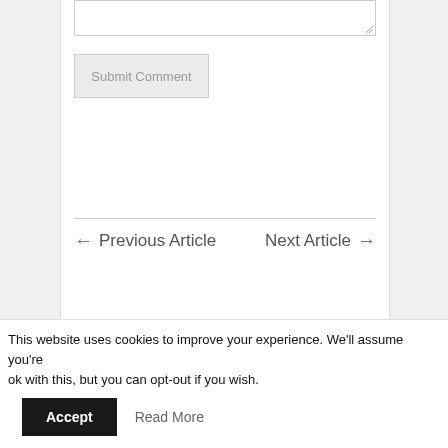[textarea input box]
Submit Comment
← Previous Article
Next Article →
Karen Strunks is a life coach, a motivational
This website uses cookies to improve your experience. We'll assume you're ok with this, but you can opt-out if you wish.
Accept
Read More